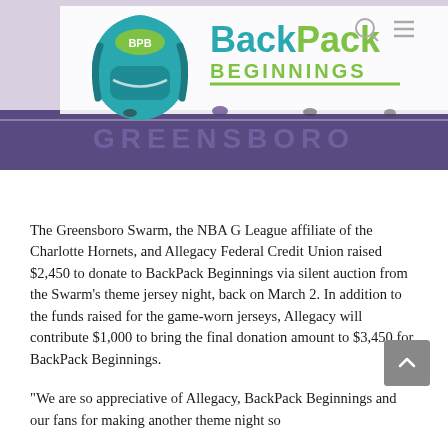[Figure (logo): BackPack Beginnings logo with teal backpack illustration and 'BPB' oval badge, alongside text 'BackPack BEGINNINGS' in teal and green. Behind it a blurred basketball court photo showing 'GREENSBORO' on the floor. Navigation icons (search, menu) visible top right.]
The Greensboro Swarm, the NBA G League affiliate of the Charlotte Hornets, and Allegacy Federal Credit Union raised $2,450 to donate to BackPack Beginnings via silent auction from the Swarm's theme jersey night, back on March 2. In addition to the funds raised for the game-worn jerseys, Allegacy will contribute $1,000 to bring the final donation amount to $3,450 for BackPack Beginnings.
“We are so appreciative of Allegacy, BackPack Beginnings and our fans for making another theme night so